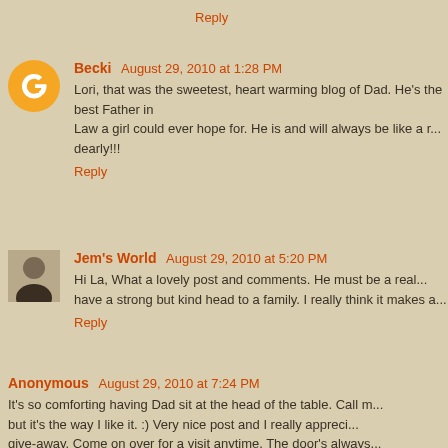Reply
Becki  August 29, 2010 at 1:28 PM
Lori, that was the sweetest, heart warming blog of Dad. He's the best Father in Law a girl could ever hope for. He is and will always be like a r... dearly!!!
Reply
Jem's World  August 29, 2010 at 5:20 PM
Hi La, What a lovely post and comments. He must be a real... have a strong but kind head to a family. I really think it makes a...
Reply
Anonymous  August 29, 2010 at 7:24 PM
It's so comforting having Dad sit at the head of the table. Call m... but it's the way I like it. :) Very nice post and I really appreci... give-away. Come on over for a visit anytime. The door's always...
Reply